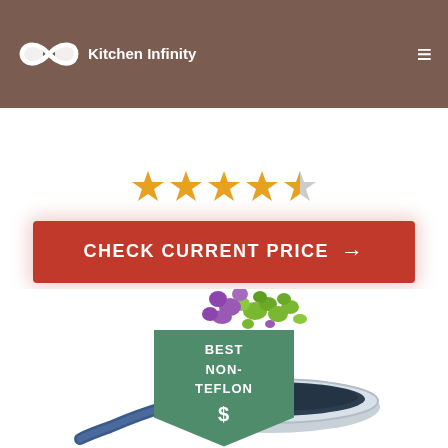Kitchen Infinity
[Figure (screenshot): Star rating showing approximately 4 out of 5 stars in gold/orange color]
CHECK CURRENT PRICE →
[Figure (infographic): Green badge/banner with text BEST NON-TEFLON and $ symbol below, shaped like a pentagon pointing down]
[Figure (photo): A non-stick frying pan with colorful vegetables (broccoli, purple cauliflower) being tossed in the air above the pan]